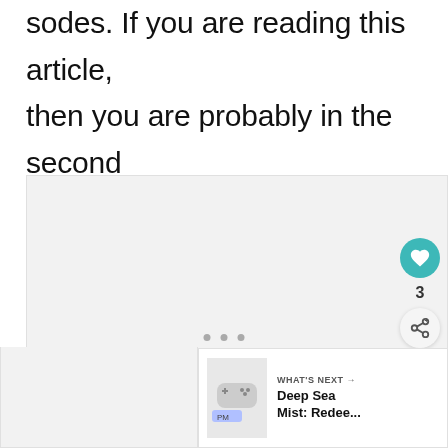sodes. If you are reading this article, then you are probably in the second category. The more active the group, the better.
[Figure (screenshot): Embedded media or image area with light grey background, pagination dots at bottom, and a 'What's Next' panel showing 'Deep Sea Mist: Redee...' with a game controller icon. Social action buttons (like with count 3, share) visible on the right side.]